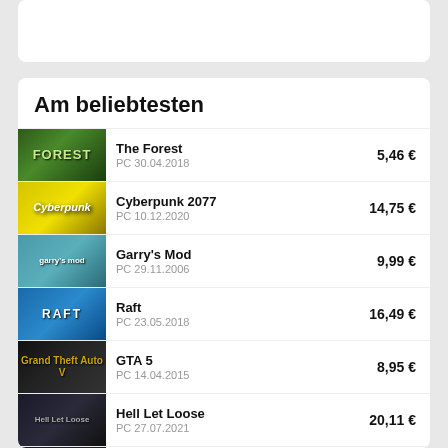Am beliebtesten
| Game | Platform/Date | Price |
| --- | --- | --- |
| The Forest | PC 30.04.2018 | 5,46 € |
| Cyberpunk 2077 | PC 10.12.2020 | 14,75 € |
| Garry's Mod | PC 29.11.2006 | 9,99 € |
| Raft | PC 23.05.2018 | 16,49 € |
| GTA 5 | PC 14.04.2015 | 8,95 € |
| Hell Let Loose | PC 27.07.2021 | 20,11 € |
| Rust | PC 08.02.2018 | 22,68 € |